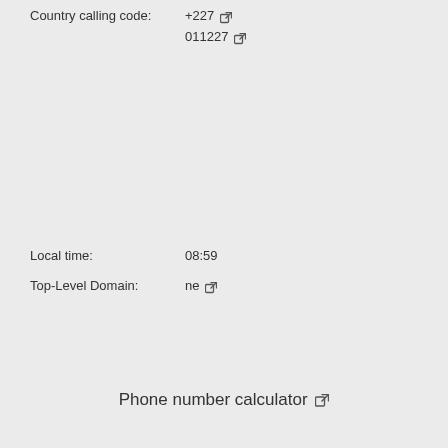Country calling code: +227 [link] 011227 [link]
Local time: 08:59
Top-Level Domain: ne [link]
Phone number calculator [link]